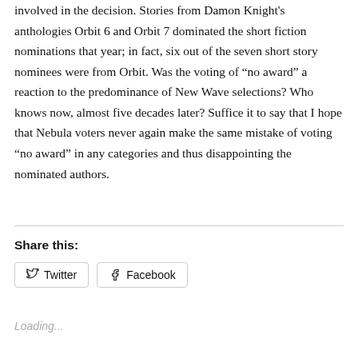involved in the decision. Stories from Damon Knight's anthologies Orbit 6 and Orbit 7 dominated the short fiction nominations that year; in fact, six out of the seven short story nominees were from Orbit. Was the voting of “no award” a reaction to the predominance of New Wave selections? Who knows now, almost five decades later? Suffice it to say that I hope that Nebula voters never again make the same mistake of voting “no award” in any categories and thus disappointing the nominated authors.
Share this:
Twitter   Facebook
Loading...